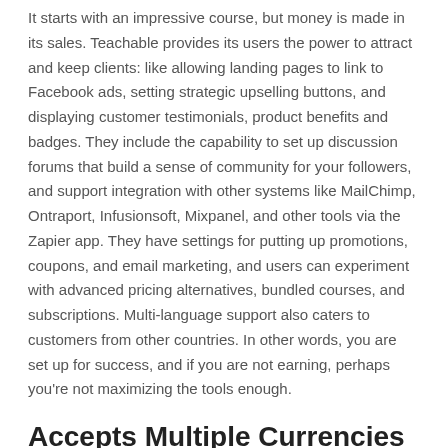It starts with an impressive course, but money is made in its sales. Teachable provides its users the power to attract and keep clients: like allowing landing pages to link to Facebook ads, setting strategic upselling buttons, and displaying customer testimonials, product benefits and badges. They include the capability to set up discussion forums that build a sense of community for your followers, and support integration with other systems like MailChimp, Ontraport, Infusionsoft, Mixpanel, and other tools via the Zapier app. They have settings for putting up promotions, coupons, and email marketing, and users can experiment with advanced pricing alternatives, bundled courses, and subscriptions. Multi-language support also caters to customers from other countries. In other words, you are set up for success, and if you are not earning, perhaps you're not maximizing the tools enough.
Accepts Multiple Currencies
For for example, outside of the US and Canada, Teachable...